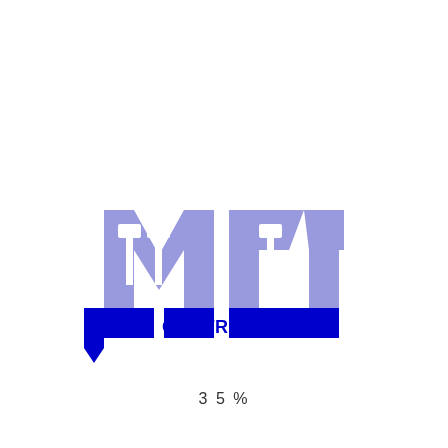[Figure (logo): MTT Contracting logo with hammer icons inside block letters M and T shapes in light blue/periwinkle, with dark blue rectangular base blocks and 'CONTRACTING.' text in bold dark blue]
3 5 %